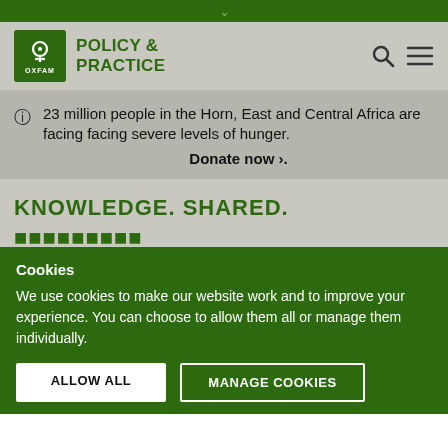OXFAM POLICY & PRACTICE
23 million people in the Horn, East and Central Africa are facing facing severe levels of hunger. Donate now >.
KNOWLEDGE. SHARED.
Cookies
We use cookies to make our website work and to improve your experience. You can choose to allow them all or manage them individually.
ALLOW ALL | MANAGE COOKIES